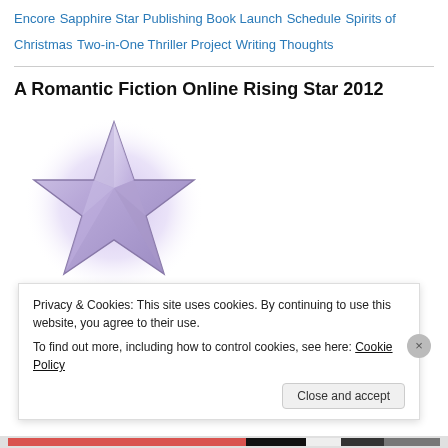Encore  Sapphire Star Publishing Book Launch  Schedule  Spirits of Christmas  Two-in-One Thriller Project  Writing Thoughts
A Romantic Fiction Online Rising Star 2012
[Figure (illustration): A stylized 3D star graphic with a purple/lavender glow effect on a white background]
Privacy & Cookies: This site uses cookies. By continuing to use this website, you agree to their use.
To find out more, including how to control cookies, see here: Cookie Policy
Close and accept